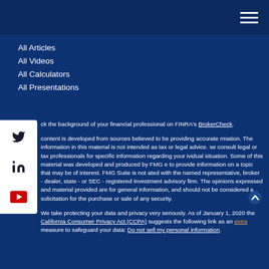All Articles
All Videos
All Calculators
All Presentations
ck the background of your financial professional on FINRA's BrokerCheck.
content is developed from sources believed to be providing accurate rmation. The information in this material is not intended as tax or legal advice. se consult legal or tax professionals for specific information regarding your ividual situation. Some of this material was developed and produced by FMG e to provide information on a topic that may be of interest. FMG Suite is not ated with the named representative, broker - dealer, state - or SEC - registered investment advisory firm. The opinions expressed and material provided are for general information, and should not be considered a solicitation for the purchase or sale of any security.
We take protecting your data and privacy very seriously. As of January 1, 2020 the California Consumer Privacy Act (CCPA) suggests the following link as an extra measure to safeguard your data: Do not sell my personal information.